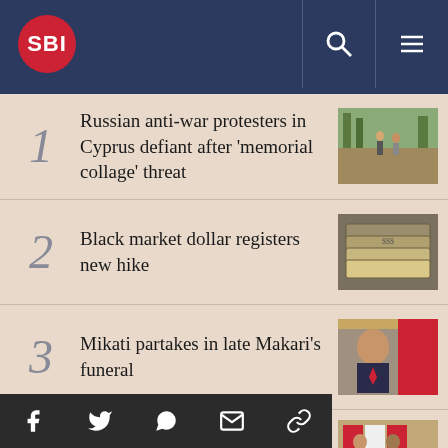SBI
1 Russian anti-war protesters in Cyprus defiant after 'memorial collage' threat
2 Black market dollar registers new hike
3 Mikati partakes in late Makari's funeral
4 Aoun, Mikati resume government